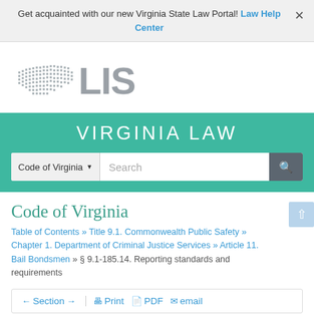Get acquainted with our new Virginia State Law Portal! Law Help Center ×
[Figure (logo): LIS (Legislative Information System) logo with Virginia state silhouette made of dots and large grey letters LIS]
VIRGINIA LAW
Code of Virginia ▼  Search
Code of Virginia
Table of Contents » Title 9.1. Commonwealth Public Safety » Chapter 1. Department of Criminal Justice Services » Article 11. Bail Bondsmen » § 9.1-185.14. Reporting standards and requirements
← Section → Print PDF email